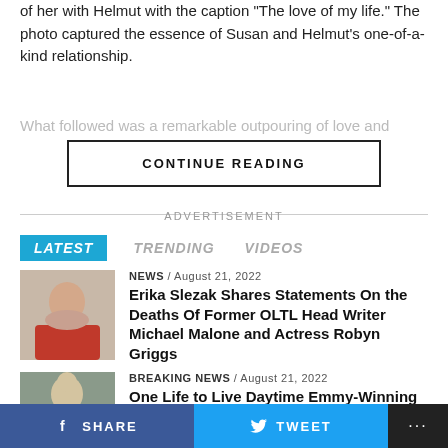of her with Helmut with the caption "The love of my life." The photo captured the essence of Susan and Helmut's one-of-a-kind relationship.
What followed was a remarkable outpouring of love and
CONTINUE READING
ADVERTISEMENT
LATEST   TRENDING   VIDEOS
NEWS / August 21, 2022 Erika Slezak Shares Statements On the Deaths Of Former OLTL Head Writer Michael Malone and Actress Robyn Griggs
BREAKING NEWS / August 21, 2022 One Life to Live Daytime Emmy-Winning Head Writer Michael Malone Passes at 82
SHARE   TWEET   ...